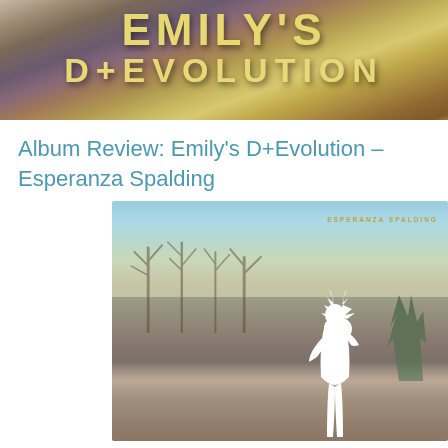[Figure (photo): Album banner for Emily's D+Evolution showing stylized text in golden/yellow letters on a textured colorful background with greens, purples and browns]
Album Review: Emily's D+Evolution – Esperanza Spalding
[Figure (photo): Album cover art for Emily's D+Evolution by Esperanza Spalding. A woman in a white bodysuit with a white feathered headdress stands in a rocky, post-apocalyptic landscape with bare trees and a cloudy sky. Text reads ESPERANZA SPALDING in small gold letters at top right.]